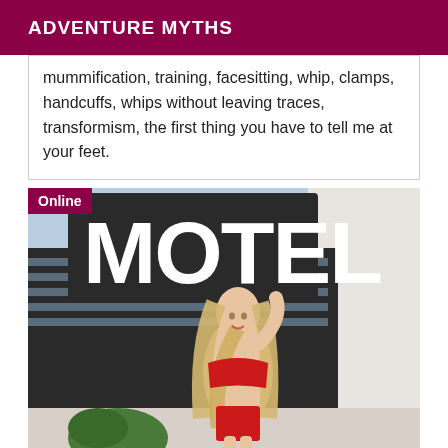ADVENTURE MYTHS
mummification, training, facesitting, whip, clamps, handcuffs, whips without leaving traces, transformism, the first thing you have to tell me at your feet.
[Figure (photo): Woman in red lingerie posing outdoors in front of a motel sign. An 'Online' badge is shown in the top-left corner of the image.]